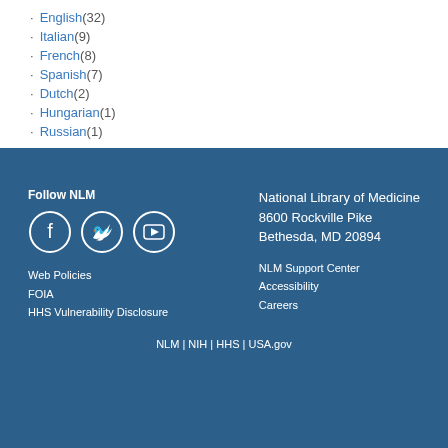English (32)
Italian (9)
French (8)
Spanish (7)
Dutch (2)
Hungarian (1)
Russian (1)
Follow NLM
Web Policies
FOIA
HHS Vulnerability Disclosure
National Library of Medicine
8600 Rockville Pike
Bethesda, MD 20894
NLM Support Center
Accessibility
Careers
NLM | NIH | HHS | USA.gov